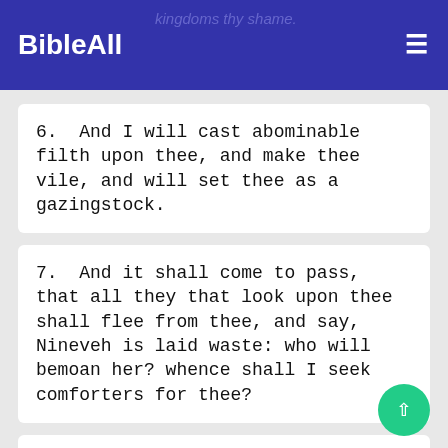BibleAll
kingdoms thy shame.
6. And I will cast abominable filth upon thee, and make thee vile, and will set thee as a gazingstock.
7. And it shall come to pass, that all they that look upon thee shall flee from thee, and say, Nineveh is laid waste: who will bemoan her? whence shall I seek comforters for thee?
8. Art thou better than populous No, that was situate among the rivers, that had the waters round about it, whose